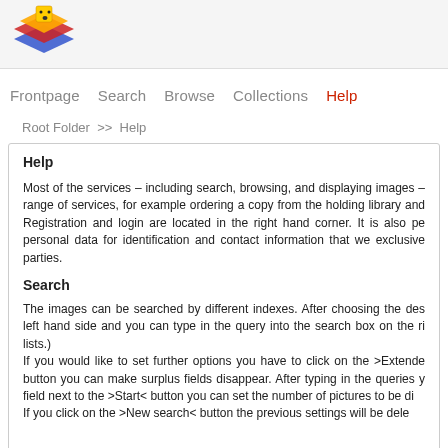[Figure (logo): Colored stacked layers logo with a small yellow face icon, in red, blue, and orange/yellow colors]
Frontpage   Search   Browse   Collections   Help
Root Folder >> Help
Help
Most of the services – including search, browsing, and displaying images – range of services, for example ordering a copy from the holding library and Registration and login are located in the right hand corner. It is also pe personal data for identification and contact information that we exclusive parties.
Search
The images can be searched by different indexes. After choosing the des left hand side and you can type in the query into the search box on the ri lists.) If you would like to set further options you have to click on the >Extende button you can make surplus fields disappear. After typing in the queries y field next to the >Start< button you can set the number of pictures to be di If you click on the >New search< button the previous settings will be dele